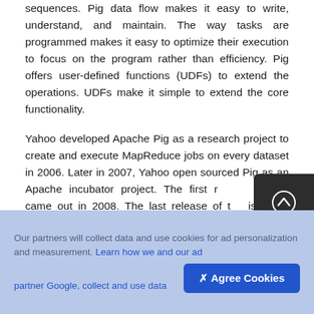sequences. Pig data flow makes it easy to write, understand, and maintain. The way tasks are programmed makes it easy to optimize their execution to focus on the program rather than efficiency. Pig offers user-defined functions (UDFs) to extend the operations. UDFs make it simple to extend the core functionality.
Yahoo developed Apache Pig as a research project to create and execute MapReduce jobs on every dataset in 2006. Later in 2007, Yahoo open sourced Pig as an Apache incubator project. The first release of Pig came out in 2008. The last release of the is dated 2017 as of the time of writing this book. Now, let us see how Pig works.
[Figure (other): Scroll-up button — dark rounded rectangle with a circled upward arrow icon]
Our partners will collect data and use cookies for ad personalization and measurement. Learn how we and our ad partner Google, collect and use data
[Figure (other): Agree Cookies button — blue rounded rectangle with checkmark-x icon and text 'Agree Cookies']